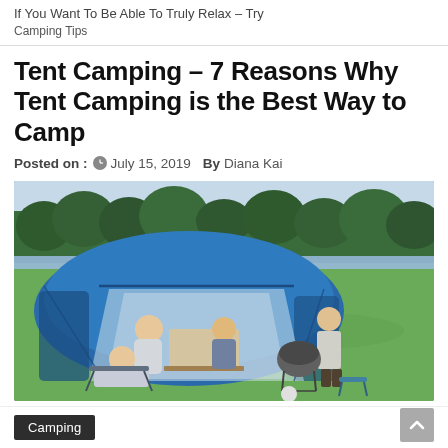If You Want To Be Able To Truly Relax – Try Camping Tips
Tent Camping – 7 Reasons Why Tent Camping is the Best Way to Camp
Posted on : July 15, 2019    By Diana Kai
[Figure (photo): A family camping scene with a large blue tent set up on a green grassy field near trees and a lake. A woman relaxes in a camping chair in front of the tent, while two people sit at a table inside the open tent. A teenager stands nearby holding something, with a portable grill and camping stool visible on the grass.]
Camping